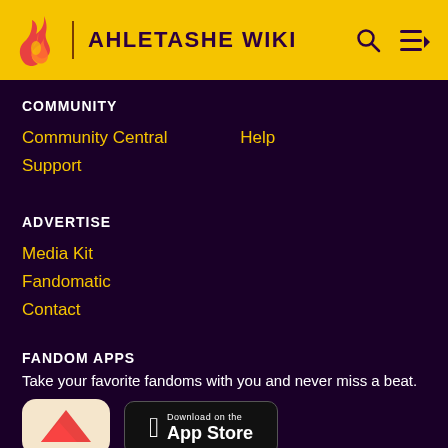AHLETASHE WIKI
COMMUNITY
Community Central
Help
Support
ADVERTISE
Media Kit
Fandomatic
Contact
FANDOM APPS
Take your favorite fandoms with you and never miss a beat.
[Figure (logo): Fandom app icon and Download on the App Store button]